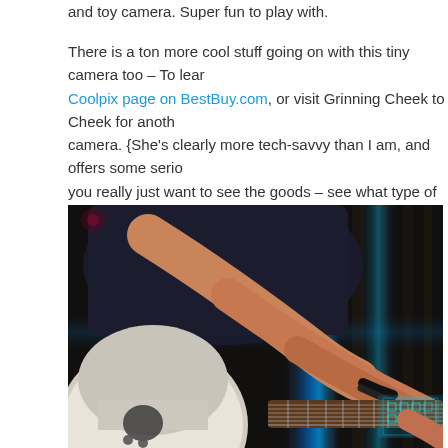and toy camera. Super fun to play with.
There is a ton more cool stuff going on with this tiny camera too – To learn more, visit the Coolpix page on BestBuy.com, or visit Grinning Cheek to Cheek for another review of this camera. {She's clearly more tech-savvy than I am, and offers some serious info!} Or, if you really just want to see the goods – see what type of photos this camera can take – scroll below…
[Figure (photo): A person playing an electric guitar with dramatic blue glowing light effects, dark moody background with wooden panels, showing the player's arm and hands on the guitar neck and body.]